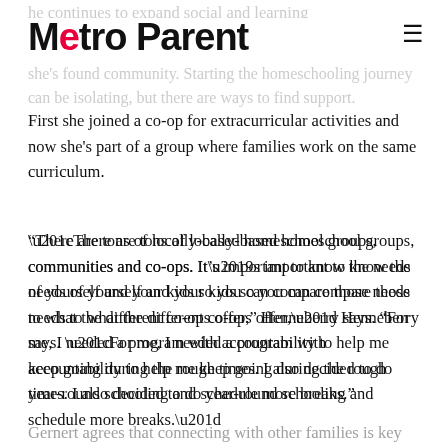Metro Parent
First she joined a co-op for extracurricular activities and now she's part of a group where families work on the same curriculum.
“There are tons of locally-based homeschool groups, communities and co-ops. It’s important to know the needs of yourself and your kids so you can compare those needs to what the different co-ops offer,” Henneberry says. “For me, I needed a program with accountability to help me keep going during the rough times. I also decided to do year-round schooling and schedule more breaks.”
Gernert agrees that connecting with other families is key